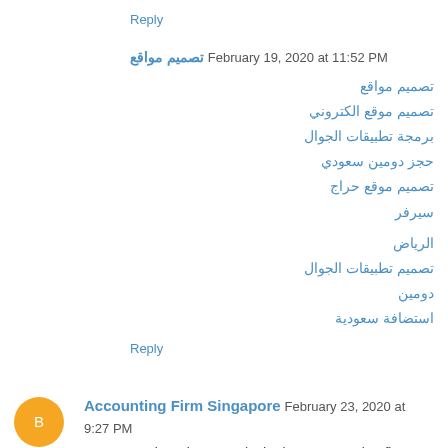Reply
تصميم مواقع  February 19, 2020 at 11:52 PM
تصميم مواقع
تصميم موقع الكتروني
برمجة تطبيقات الجوال
حجز دومين سعودي
تصميم موقع حراج
سيرفر
الرياض
تصميم تطبيقات الجوال
دومين
استضافة سعودية
Reply
Accounting Firm Singapore  February 23, 2020 at 9:27 PM
3E Accounting Singapore is the best accounting firm which